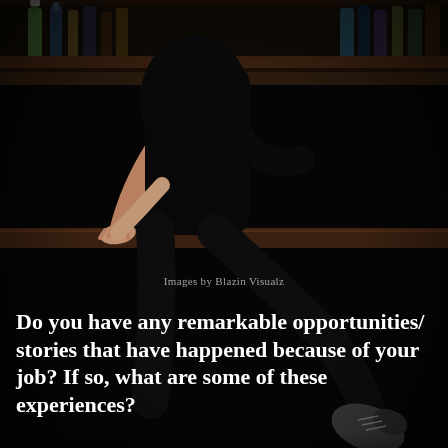[Figure (photo): A person dressed in black sitting on a bar counter with liquor bottles on shelves in the background, photographed in a dark, moody bar setting. The person's torso, arms, and legs are visible but not their face.]
Images by Blazin Visualz
Do you have any remarkable opportunities/ stories that have happened because of your job? If so, what are some of these experiences?